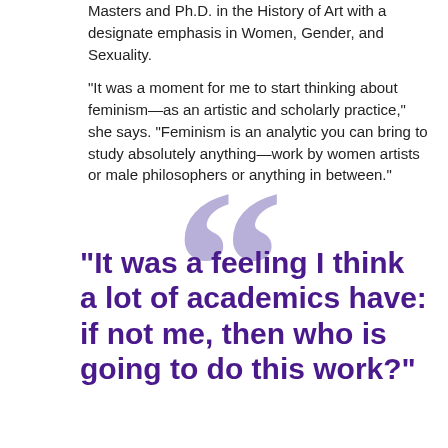Masters and Ph.D. in the History of Art with a designate emphasis in Women, Gender, and Sexuality.
“It was a moment for me to start thinking about feminism—as an artistic and scholarly practice,” she says. “Feminism is an analytic you can bring to study absolutely anything—work by women artists or male philosophers or anything in between.”
“It was a feeling I think a lot of academics have: if not me, then who is going to do this work?”